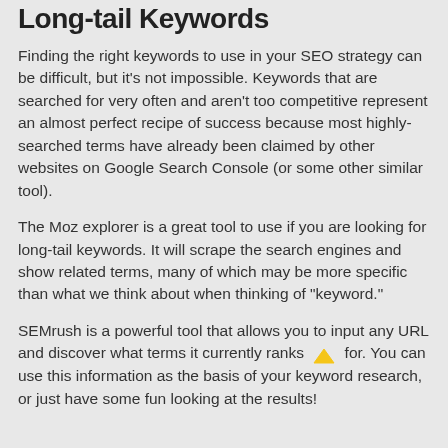Long-tail Keywords
Finding the right keywords to use in your SEO strategy can be difficult, but it's not impossible. Keywords that are searched for very often and aren't too competitive represent an almost perfect recipe of success because most highly-searched terms have already been claimed by other websites on Google Search Console (or some other similar tool).
The Moz explorer is a great tool to use if you are looking for long-tail keywords. It will scrape the search engines and show related terms, many of which may be more specific than what we think about when thinking of "keyword."
SEMrush is a powerful tool that allows you to input any URL and discover what terms it currently ranks for. You can use this information as the basis of your keyword research, or just have some fun looking at the results!